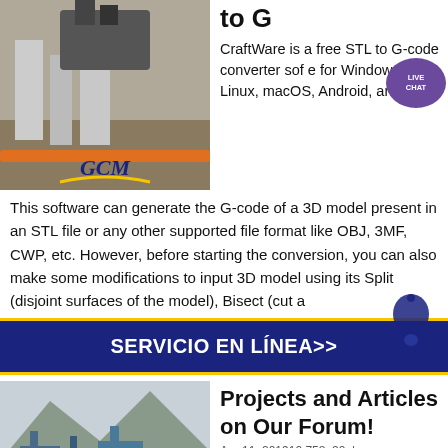[Figure (photo): Industrial machinery/crusher equipment on a construction site with concrete pillars and GCM logo]
to G
CraftWare is a free STL to G-code converter software for Windows, Linux, macOS, Android, and iOS.
This software can generate the G-code of a 3D model present in an STL file or any other supported file format like OBJ, 3MF, CWP, etc. However, before starting the conversion, you can also make some modifications to input 3D model using its Split (disjoint surfaces of the model), Bisect (cut a
SERVICIO EN LÍNEA>>
[Figure (photo): Industrial mining/processing plant with blue machinery and mountains in background]
Projects and Articles on Our Forum!
Apr 11, 201910,758, 20, |